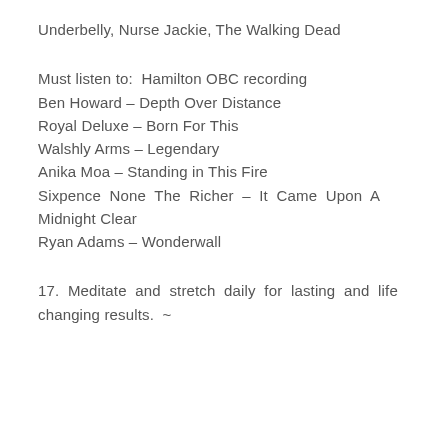Underbelly, Nurse Jackie, The Walking Dead
Must listen to: Hamilton OBC recording
Ben Howard – Depth Over Distance
Royal Deluxe – Born For This
Walshly Arms – Legendary
Anika Moa – Standing in This Fire
Sixpence None The Richer – It Came Upon A Midnight Clear
Ryan Adams – Wonderwall
17. Meditate and stretch daily for lasting and life changing results. ~